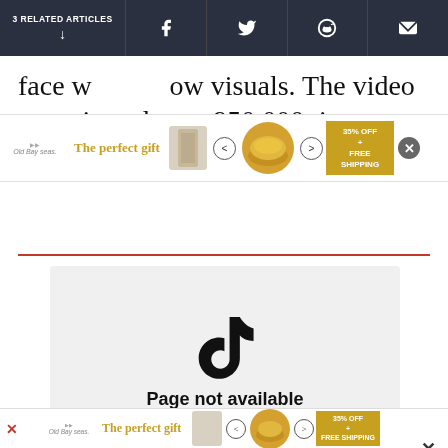3 RELATED ARTICLES
face w... ow visuals. The video was viewed over 950,000 times.
[Figure (screenshot): Embedded TikTok player showing 'Page not available' message with TikTok logo]
[Figure (advertisement): Bottom advertisement bar for 'The perfect gift' with 35% OFF + FREE SHIPPING promo]